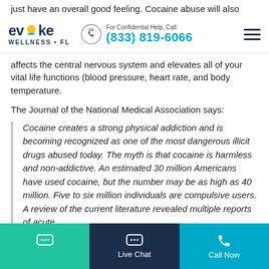just have an overall good feeling. Cocaine abuse will also
[Figure (logo): Evoke Wellness FL logo with sun icon, phone number (833) 819-6066, and hamburger menu]
affects the central nervous system and elevates all of your vital life functions (blood pressure, heart rate, and body temperature.
The Journal of the National Medical Association says:
Cocaine creates a strong physical addiction and is becoming recognized as one of the most dangerous illicit drugs abused today. The myth is that cocaine is harmless and non-addictive. An estimated 30 million Americans have used cocaine, but the number may be as high as 40 million. Five to six million individuals are compulsive users. A review of the current literature revealed multiple reports of acute